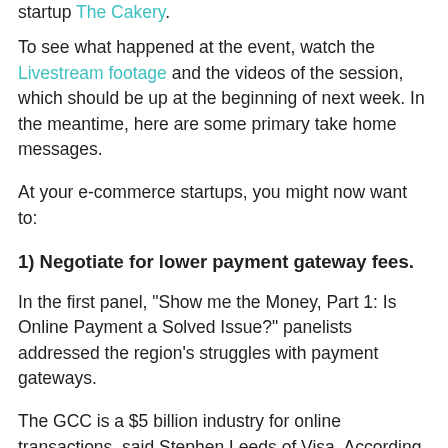startup The Cakery.
To see what happened at the event, watch the Livestream footage and the videos of the session, which should be up at the beginning of next week. In the meantime, here are some primary take home messages.
At your e-commerce startups, you might now want to:
1) Negotiate for lower payment gateway fees.
In the first panel, "Show me the Money, Part 1: Is Online Payment a Solved Issue?" panelists addressed the region's struggles with payment gateways.
The GCC is a $5 billion industry for online transactions, said Stephen Leeds of Visa. According to a survey by Souq, 90% of customers in the UAE according to survey feel comfortable buying online, said Ronaldo, CEO of Souq.com. But most of them prefer cash on delivery to credit cards or prepaid credit card solutions like those that Souq offers.